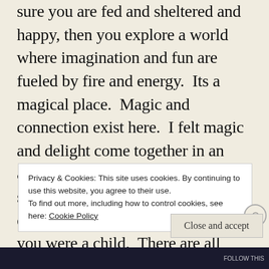sure you are fed and sheltered and happy, then you explore a world where imagination and fun are fueled by fire and energy.  Its a magical place.  Magic and connection exist here.  I felt magic and delight come together in an adult playground.  There are swings that are built tall so that you can swing as high as you did when you were a child.  There are all type of swings:  long pendulums, various bench swings, a large
Privacy & Cookies: This site uses cookies. By continuing to use this website, you agree to their use.
To find out more, including how to control cookies, see here: Cookie Policy
Close and accept